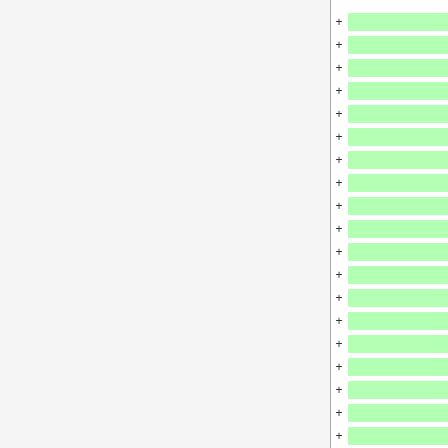[Figure (other): A two-panel layout. Left panel is a light gray area separated by a vertical line. Right panel shows approximately 19 rows, each consisting of a '+' symbol followed by a green highlighted bar, repeating vertically down the panel.]